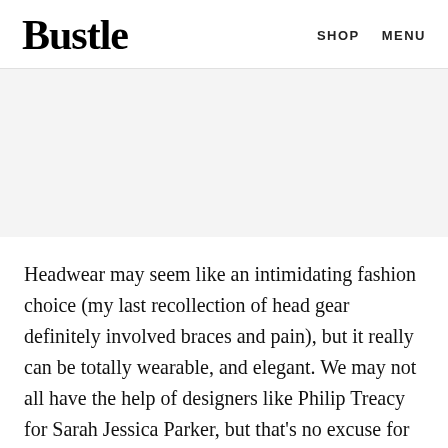Bustle   SHOP   MENU
[Figure (photo): Gray placeholder area for article image]
Headwear may seem like an intimidating fashion choice (my last recollection of head gear definitely involved braces and pain), but it really can be totally wearable, and elegant. We may not all have the help of designers like Philip Treacy for Sarah Jessica Parker, but that's no excuse for not trying out a fun, quirky trend.